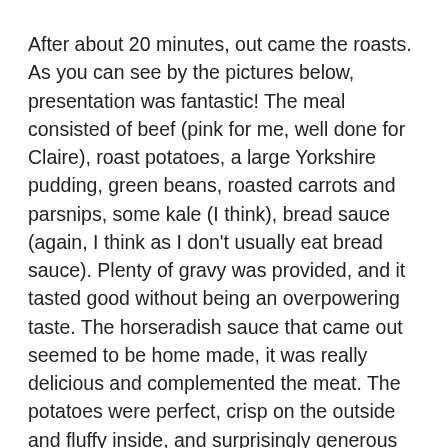After about 20 minutes, out came the roasts. As you can see by the pictures below, presentation was fantastic! The meal consisted of beef (pink for me, well done for Claire), roast potatoes, a large Yorkshire pudding, green beans, roasted carrots and parsnips, some kale (I think), bread sauce (again, I think as I don't usually eat bread sauce). Plenty of gravy was provided, and it tasted good without being an overpowering taste. The horseradish sauce that came out seemed to be home made, it was really delicious and complemented the meat. The potatoes were perfect, crisp on the outside and fluffy inside, and surprisingly generous portions.